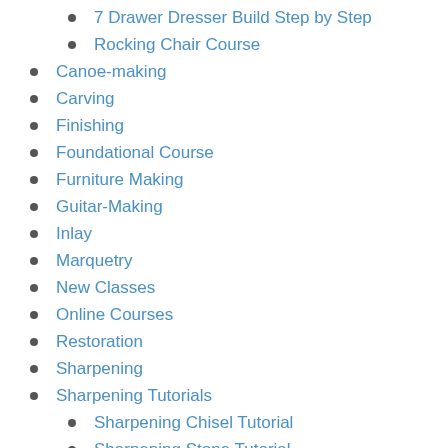7 Drawer Dresser Build Step by Step
Rocking Chair Course
Canoe-making
Carving
Finishing
Foundational Course
Furniture Making
Guitar-Making
Inlay
Marquetry
New Classes
Online Courses
Restoration
Sharpening
Sharpening Tutorials
Sharpening Chisel Tutorial
Sharpening Stone Tutorial
Spoon Carving
Uncategorized
Video Blog
Windsor Chair